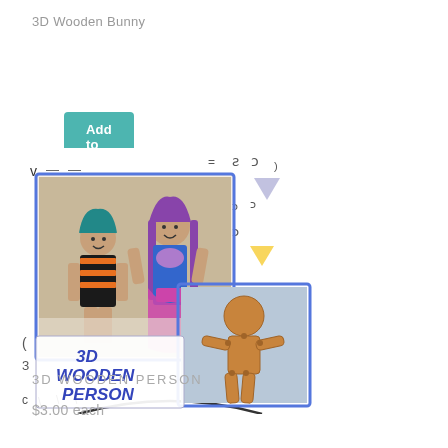3D Wooden Bunny
Add to cart
[Figure (photo): Product listing image for '3D Wooden Person' showing handmade cloth dolls with yarn hair alongside a flat wooden person puzzle piece kit, on a colorful patterned background with blue border accent. Text overlay reads '3D WOODEN PERSON' in bold blue italic letters.]
3D WOODEN PERSON
$3.00 each